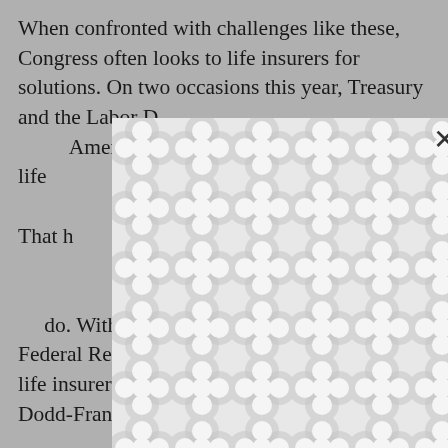When confronted with challenges like these, Congress often looks to life insurers for solutions. On two occasions this year, Treasury and the Labor [Department sought ways to make Americans... some for life ... employ...
[Figure (other): A modal/popup dialog box overlaying the text content, showing a decorative pattern of interlocking circles/blobs in light gray on white background, with an X close button in the upper right corner.]
That h... capital... House. At first... ear to involve... do. Without appropriate standards, the Federal Reserve Board will have to regulate life insurers like banks, as required by the Dodd-Frank Wall